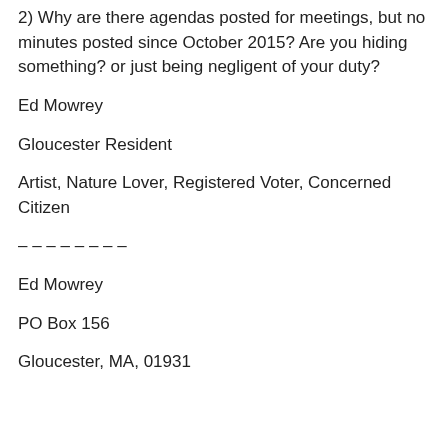2) Why are there agendas posted for meetings, but no minutes posted since October 2015? Are you hiding something? or just being negligent of your duty?
Ed Mowrey
Gloucester Resident
Artist, Nature Lover, Registered Voter, Concerned Citizen
– – – – – – – –
Ed Mowrey
PO Box 156
Gloucester, MA, 01931